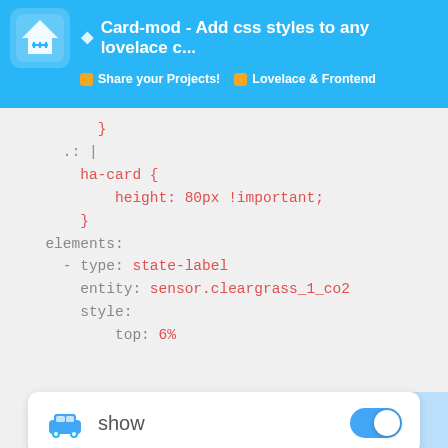Card-mod - Add css styles to any lovelace c... | Share your Projects! | Lovelace & Frontend
[Figure (screenshot): Code block showing YAML configuration with CSS: .: | ha-card { height: 80px !important; } elements: - type: state-label entity: sensor.cleargrass_1_co2 style: top: 6%]
[Figure (screenshot): UI card with car icon, show label, and a blue toggle switch turned on]
[Figure (screenshot): Sensor card showing 645 ppm badge and 645 ppm text in red]
2220 / 3518